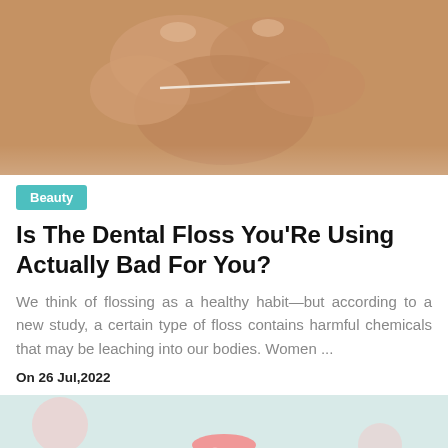[Figure (photo): Close-up photo of hands using dental floss]
Beauty
Is The Dental Floss You'Re Using Actually Bad For You?
We think of flossing as a healthy habit—but according to a new study, a certain type of floss contains harmful chemicals that may be leaching into our bodies. Women ...
On 26 Jul,2022
[Figure (photo): Blurred photo of a pink menstrual cup on a floral background]